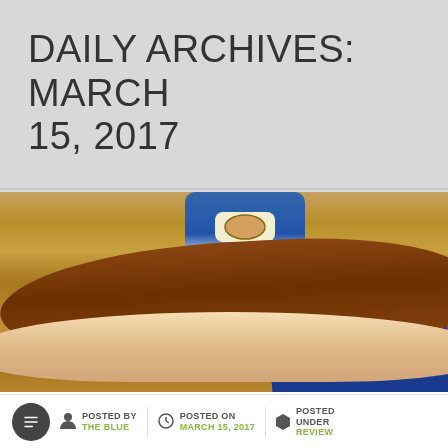DAILY ARCHIVES: MARCH 15, 2017
[Figure (photo): A chili cheese hot dog on a bun on a white plate, with a jar of Spicy Brown Mustard in the background and a Broadway Dog House business card]
POSTED BY THE BLUE
POSTED ON MARCH 15, 2017
POSTED UNDER REVIEW